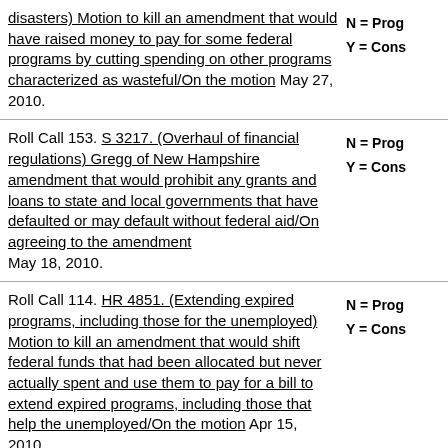disasters) Motion to kill an amendment that would have raised money to pay for some federal programs by cutting spending on other programs characterized as wasteful/On the motion May 27, 2010. N = Prog Y = Cons
Roll Call 153. S 3217. (Overhaul of financial regulations) Gregg of New Hampshire amendment that would prohibit any grants and loans to state and local governments that have defaulted or may default without federal aid/On agreeing to the amendment May 18, 2010. N = Prog Y = Cons
Roll Call 114. HR 4851. (Extending expired programs, including those for the unemployed) Motion to kill an amendment that would shift federal funds that had been allocated but never actually spent and use them to pay for a bill to extend expired programs, including those that help the unemployed/On the motion Apr 15, 2010. N = Prog Y = Cons
Roll Call 113. HR 4851. (Extending unemployment benefits and other items) On killing an amendment that would take back at least $20 billion in money that had been allocated for other uses but never spent, and also N = Prog Y = Cons